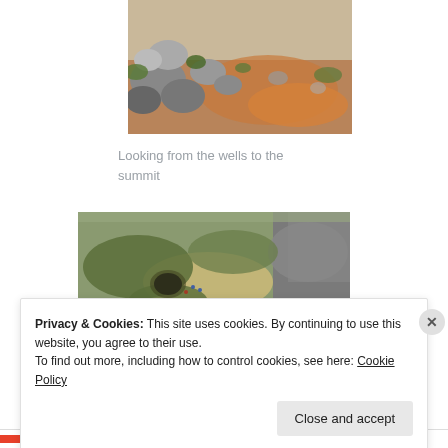[Figure (photo): Rocky hillside with boulders, scrubby green vegetation, and reddish-orange rocky terrain, looking from wells toward the summit]
Looking from the wells to the summit
[Figure (photo): Aerial or elevated view of a circular stone well or pit structure in a scrubby landscape with scattered rocks, green bushes, and people visible near the well]
Privacy & Cookies: This site uses cookies. By continuing to use this website, you agree to their use.
To find out more, including how to control cookies, see here: Cookie Policy